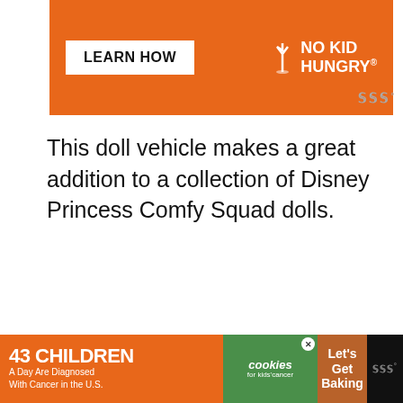[Figure (screenshot): Orange banner advertisement for No Kid Hungry with 'LEARN HOW' button]
This doll vehicle makes a great addition to a collection of Disney Princess Comfy Squad dolls.
[Figure (screenshot): White shelf/cubby unit with decorative crown details, product photo]
[Figure (screenshot): Bottom ad banner: '43 CHILDREN A Day Are Diagnosed With Cancer in the U.S.' with cookies for kids cancer and Let's Get Baking]